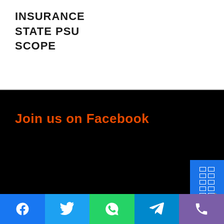INSURANCE STATE PSU SCOPE
[Figure (screenshot): Black background section with orange bold text 'Join us on Facebook' and a blue sidebar widget with grid cells]
Social share bar: Facebook, Twitter, WhatsApp, Telegram, Phone